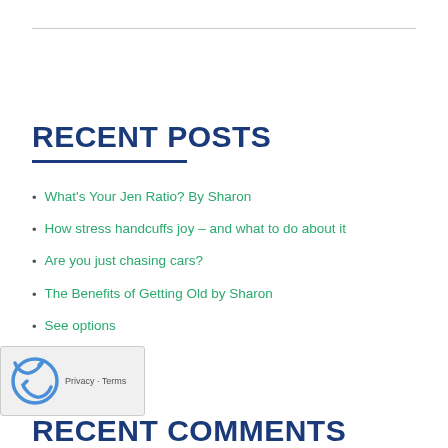RECENT POSTS
What's Your Jen Ratio? By Sharon
How stress handcuffs joy – and what to do about it
Are you just chasing cars?
The Benefits of Getting Old by Sharon
See options
RECENT COMMENTS